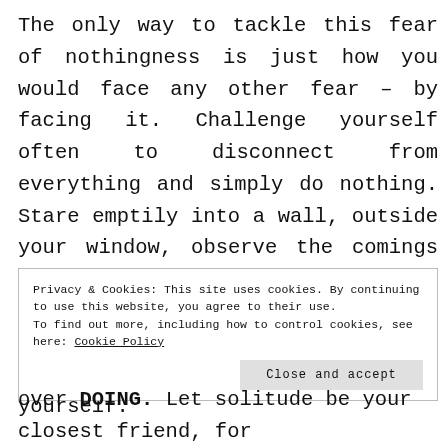The only way to tackle this fear of nothingness is just how you would face any other fear – by facing it. Challenge yourself often to disconnect from everything and simply do nothing. Stare emptily into a wall, outside your window, observe the comings and goings of your thoughts with every breath. Include this as a weekly chore to remind yourself of the importance of knowing yourself.
Privacy & Cookies: This site uses cookies. By continuing to use this website, you agree to their use.
To find out more, including how to control cookies, see here: Cookie Policy
Close and accept
over DOING. Let solitude be your closest friend, for